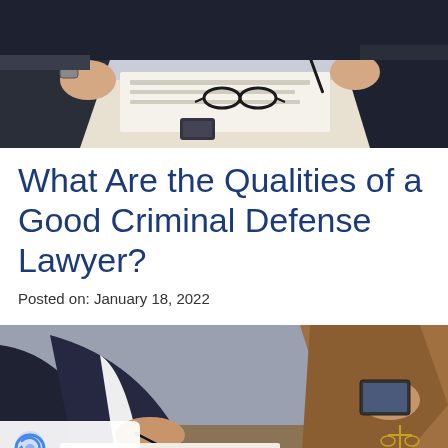[Figure (photo): Two people at a table, one holding glasses, papers and documents visible, business meeting setting]
What Are the Qualities of a Good Criminal Defense Lawyer?
Posted on: January 18, 2022
[Figure (photo): Lawyer signing documents at desk, another person in background with tablet, gavel and scales of justice visible]
Privacy · Terms